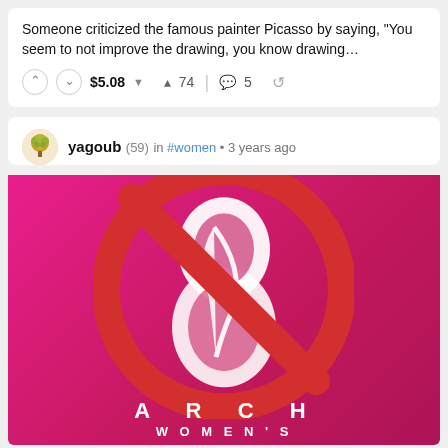Someone criticized the famous painter Picasso by saying, "You seem to not improve the drawing, you know drawing…"
$5.08 ▲ 74 💬 5 ↺
yagoub (59) in #women • 3 years ago
[Figure (illustration): Pink background image with a large red prohibition/no symbol (circle with diagonal line) overlaying a white stylized figure resembling the number 8 or a woman's silhouette. At the bottom the text 'ARCH' and 'WOMEN'S' are visible in white letters, suggesting this is a Women's March graphic.]